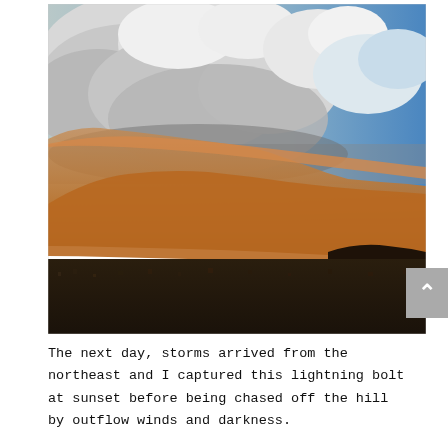[Figure (photo): A dramatic haboob (dust storm) sweeping across a desert landscape, with a massive wall of orange-brown dust rising to meet towering white and grey cumulonimbus clouds above. Blue sky is visible on the upper right. Dark desert terrain and city lights are visible at the bottom.]
The next day, storms arrived from the northeast and I captured this lightning bolt at sunset before being chased off the hill by outflow winds and darkness.